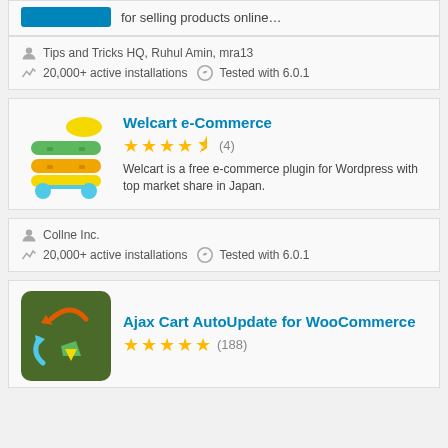for selling products online…
Tips and Tricks HQ, Ruhul Amin, mra13
20,000+ active installations   Tested with 6.0.1
Welcart e-Commerce
★★★★½ (4)
Welcart is a free e-commerce plugin for Wordpress with top market share in Japan.
Collne Inc.
20,000+ active installations   Tested with 6.0.1
Ajax Cart AutoUpdate for WooCommerce
★★★★★ (188)